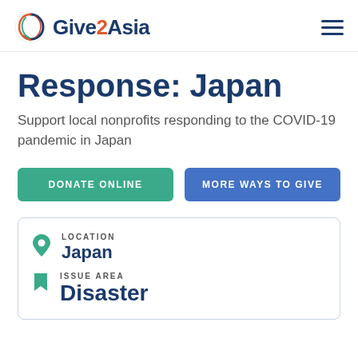Give2Asia
Response: Japan
Support local nonprofits responding to the COVID-19 pandemic in Japan
DONATE ONLINE
MORE WAYS TO GIVE
LOCATION
Japan
ISSUE AREA
Disaster